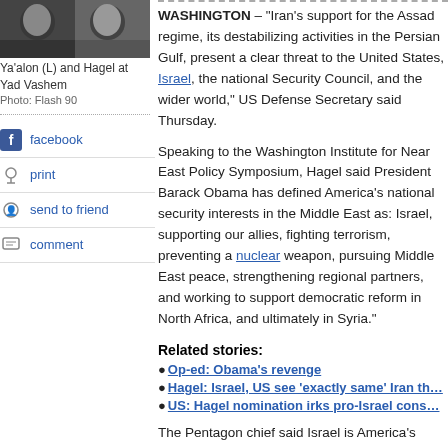[Figure (photo): Photo of Ya'alon (L) and Hagel at Yad Vashem]
Ya'alon (L) and Hagel at Yad Vashem
Photo: Flash 90
facebook
print
send to friend
comment
WASHINGTON – "Iran's support for the Assad regime, its destabilizing activities in the Persian Gulf, present a clear threat to the United States, Israel, the national Security Council, and the wider world," US Defense Secretary said Thursday.
Speaking to the Washington Institute for Near East Policy Symposium, Hagel said President Barack Obama has defined America's national security interests in the Middle East as: Israel, supporting our allies, fighting terrorism, preventing a nuclear weapon, pursuing Middle East peace, strengthening regional partners, and working to support democratic reform in North Africa, and ultimately in Syria."
Related stories:
Op-ed: Obama's revenge
Hagel: Israel, US see 'exactly same' Iran th…
US: Hagel nomination irks pro-Israel cons…
The Pentagon chief said Israel is America's "closest ally" in the Middle East," adding that during a series of meetings with a Defense Minister Moshe Ya'alon, President and Prime Minister Benjamin Netanyahu, "I conveyed our commitment to enhancing defense cooperation – which has grown significantly in recent years.